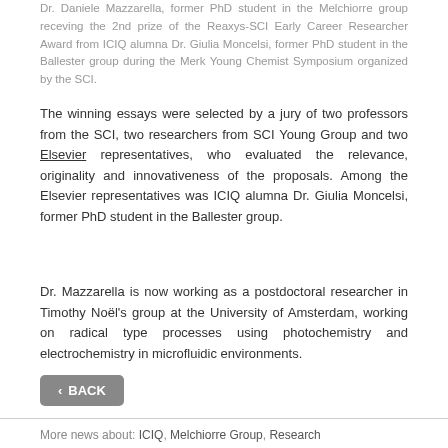Dr. Daniele Mazzarella, former PhD student in the Melchiorre group receving the 2nd prize of the Reaxys-SCI Early Career Researcher Award from ICIQ alumna Dr. Giulia Moncelsi, former PhD student in the Ballester group during the Merk Young Chemist Symposium organized by the SCI.
The winning essays were selected by a jury of two professors from the SCI, two researchers from SCI Young Group and two Elsevier representatives, who evaluated the relevance, originality and innovativeness of the proposals. Among the Elsevier representatives was ICIQ alumna Dr. Giulia Moncelsi, former PhD student in the Ballester group.
Dr. Mazzarella is now working as a postdoctoral researcher in Timothy Noël's group at the University of Amsterdam, working on radical type processes using photochemistry and electrochemistry in microfluidic environments.
‹ BACK
More news about: ICIQ, Melchiorre Group, Research